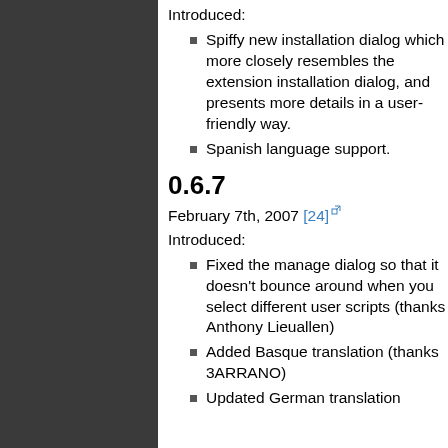Introduced:
Spiffy new installation dialog which more closely resembles the extension installation dialog, and presents more details in a user-friendly way.
Spanish language support.
0.6.7
February 7th, 2007 [24]
Introduced:
Fixed the manage dialog so that it doesn't bounce around when you select different user scripts (thanks Anthony Lieuallen)
Added Basque translation (thanks 3ARRANO)
Updated German translation